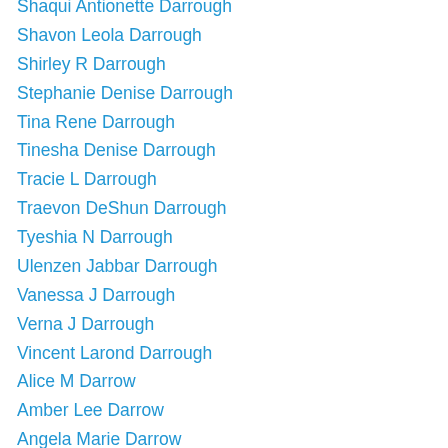Shaqui Antionette Darrough
Shavon Leola Darrough
Shirley R Darrough
Stephanie Denise Darrough
Tina Rene Darrough
Tinesha Denise Darrough
Tracie L Darrough
Traevon DeShun Darrough
Tyeshia N Darrough
Ulenzen Jabbar Darrough
Vanessa J Darrough
Verna J Darrough
Vincent Larond Darrough
Alice M Darrow
Amber Lee Darrow
Angela Marie Darrow
Betty J Darrow
Bradley Robert Darrow